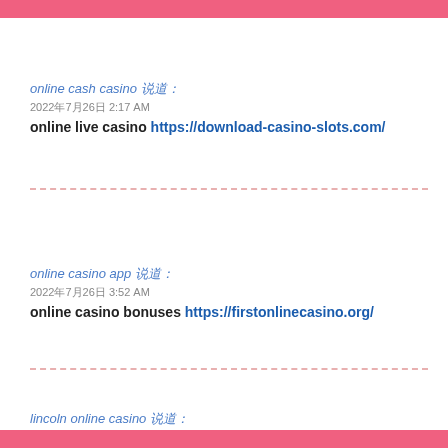online cash casino 说道：
2022年7月26日 2:17 AM
online live casino https://download-casino-slots.com/
online casino app 说道：
2022年7月26日 3:52 AM
online casino bonuses https://firstonlinecasino.org/
lincoln online casino 说道：